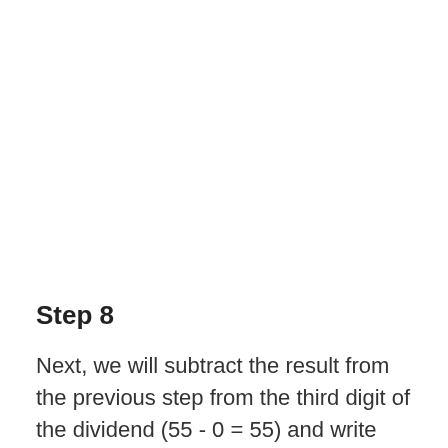Step 8
Next, we will subtract the result from the previous step from the third digit of the dividend (55 - 0 = 55) and write that answer below.